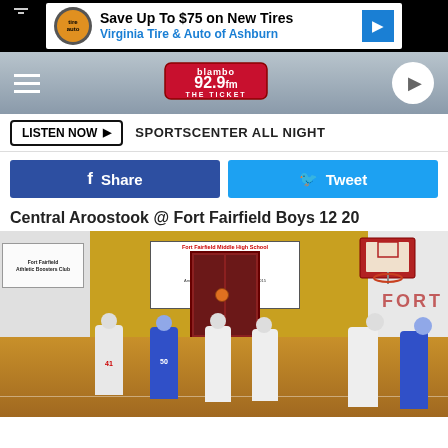[Figure (screenshot): Advertisement banner: Save Up To $75 on New Tires - Virginia Tire & Auto of Ashburn]
[Figure (logo): 92.9fm The Ticket radio station logo navigation bar with hamburger menu and play button]
LISTEN NOW ▶   SPORTSCENTER ALL NIGHT
[Figure (infographic): Facebook Share button and Twitter Tweet button row]
Central Aroostook @ Fort Fairfield Boys 12 20
[Figure (photo): Basketball game photo at Fort Fairfield Middle High School gymnasium, players in white (Fort) and blue uniforms, player #50 in blue, player #41 in white, US News banner visible in background]